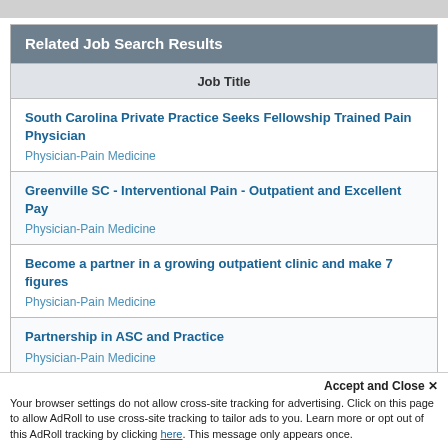Related Job Search Results
| Job Title |
| --- |
| South Carolina Private Practice Seeks Fellowship Trained Pain Physician
Physician-Pain Medicine |
| Greenville SC - Interventional Pain - Outpatient and Excellent Pay
Physician-Pain Medicine |
| Become a partner in a growing outpatient clinic and make 7 figures
Physician-Pain Medicine |
| Partnership in ASC and Practice
Physician-Pain Medicine |
| Interventional Pain Management Physician |
Accept and Close ×
Your browser settings do not allow cross-site tracking for advertising. Click on this page to allow AdRoll to use cross-site tracking to tailor ads to you. Learn more or opt out of this AdRoll tracking by clicking here. This message only appears once.